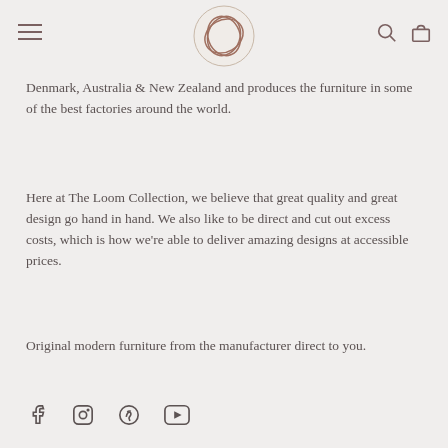The Loom Collection header with menu, logo, search and cart icons
Denmark, Australia & New Zealand and produces the furniture in some of the best factories around the world.
Here at The Loom Collection, we believe that great quality and great design go hand in hand. We also like to be direct and cut out excess costs, which is how we're able to deliver amazing designs at accessible prices.
Original modern furniture from the manufacturer direct to you.
[Figure (infographic): Social media icons: Facebook, Instagram, Pinterest, YouTube]